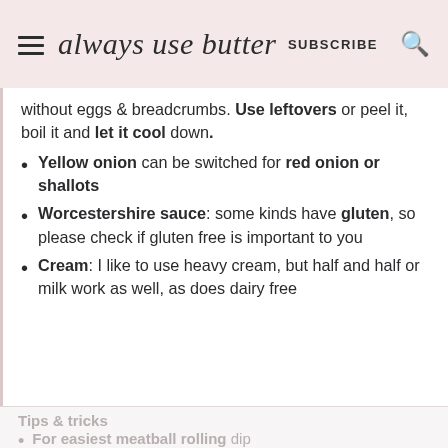always use butter  SUBSCRIBE
without eggs & breadcrumbs. Use leftovers or peel it, boil it and let it cool down.
Yellow onion can be switched for red onion or shallots
Worcestershire sauce: some kinds have gluten, so please check if gluten free is important to you
Cream: I like to use heavy cream, but half and half or milk work as well, as does dairy free
Tips & tricks
For easiest meatball rolling dip